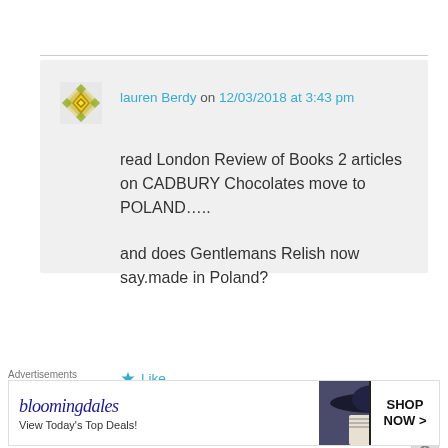lauren Berdy on 12/03/2018 at 3:43 pm
read London Review of Books 2 articles on CADBURY Chocolates move to POLAND…..

and does Gentlemans Relish now say.made in Poland?
Like
buttery77 on 14/03/2018 at 7:38 pm
Advertisements
[Figure (screenshot): Bloomingdales advertisement banner with logo, 'View Today's Top Deals!' tagline, woman in wide-brim hat, and 'SHOP NOW >' button]